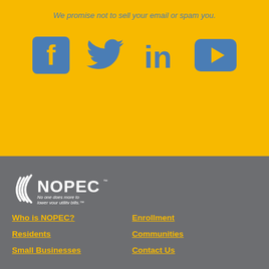We promise not to sell your email or spam you.
[Figure (illustration): Four social media icons: Facebook, Twitter, LinkedIn, YouTube in blue/steel color on yellow background]
[Figure (logo): NOPEC logo with tagline: No one does more to lower your utility bills.]
Who is NOPEC?
Enrollment
Residents
Communities
Small Businesses
Contact Us